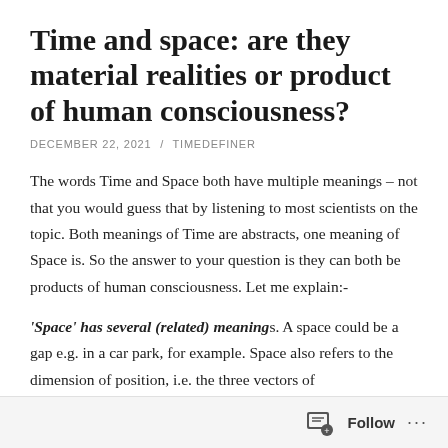Time and space: are they material realities or product of human consciousness?
DECEMBER 22, 2021 / TIMEDEFINER
The words Time and Space both have multiple meanings – not that you would guess that by listening to most scientists on the topic. Both meanings of Time are abstracts, one meaning of Space is. So the answer to your question is they can both be products of human consciousness. Let me explain:-
‘Space’ has several (related) meanings. A space could be a gap e.g. in a car park, for example. Space also refers to the dimension of position, i.e. the three vectors of